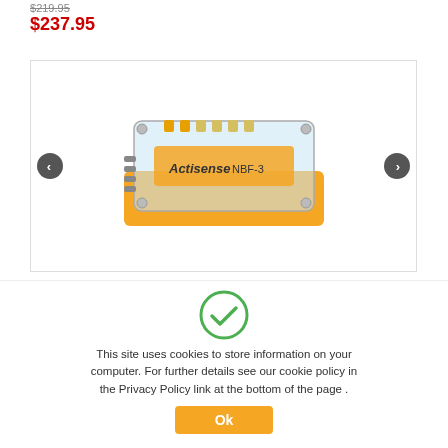$219.95 (strikethrough)
$237.95
[Figure (photo): Actisense NBF-3 electronic device with orange base and transparent top cover, showing internal components and connectors]
This site uses cookies to store information on your computer. For further details see our cookie policy in the Privacy Policy link at the bottom of the page .
Ok